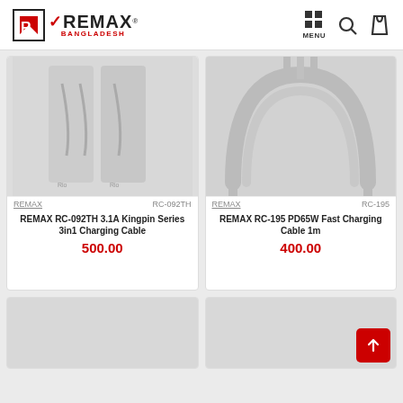[Figure (logo): Remax Bangladesh logo with red R in box and stylized REMAX text with checkmark]
[Figure (screenshot): Navigation icons: grid menu, search magnifier, shopping bag]
[Figure (photo): Product image of REMAX RC-092TH 3.1A Kingpin Series 3in1 Charging Cable box packaging, light gray background]
REMAX	RC-092TH
REMAX RC-092TH 3.1A Kingpin Series 3in1 Charging Cable
500.00
[Figure (photo): Product image of REMAX RC-195 PD65W Fast Charging Cable coiled on light gray background]
REMAX	RC-195
REMAX RC-195 PD65W Fast Charging Cable 1m
400.00
[Figure (photo): Partial product card bottom left, cut off]
[Figure (photo): Partial product card bottom right, cut off]